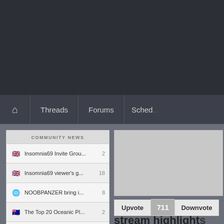Threads
Forums
Sched...
COMMUNITY NEWS
Insomnia69 Invite Grou... 2
Insomnia69 viewer's g... 18
NOOBPANZER bring i... 8
The Top 20 Oceanic Pl... 2
The Top 20 Oceanic Pl... 2
The Top 20 Oceanic Pl... 2
The Top 20 Oceanic Pl... 7
The Top 20 Oceanic Pl... 7
[Figure (photo): Grey image placeholder on the right side]
Upvote 711 Downvote
stream highlights
posted in Videos
#11071 rickrigatoni